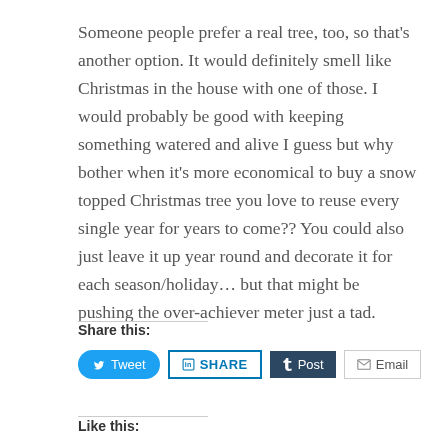Someone people prefer a real tree, too, so that's another option. It would definitely smell like Christmas in the house with one of those. I would probably be good with keeping something watered and alive I guess but why bother when it's more economical to buy a snow topped Christmas tree you love to reuse every single year for years to come?? You could also just leave it up year round and decorate it for each season/holiday… but that might be pushing the over-achiever meter just a tad.
Share this:
[Figure (other): Social share buttons: Tweet (Twitter/blue), SHARE (LinkedIn/outlined), Post (Tumblr/dark navy), Email (outlined)]
Like this: